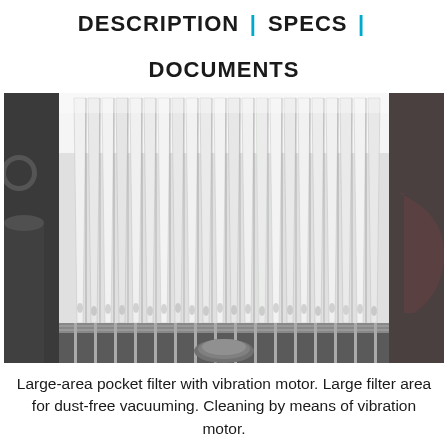DESCRIPTION | SPECS | DOCUMENTS
[Figure (photo): Close-up photograph of a large-area pocket filter with multiple white filter bags/pockets arranged in a fan-like pattern, mounted on a metal rack, viewed from below. The filter is part of an industrial dust collection vacuum system.]
Large-area pocket filter with vibration motor. Large filter area for dust-free vacuuming. Cleaning by means of vibration motor.